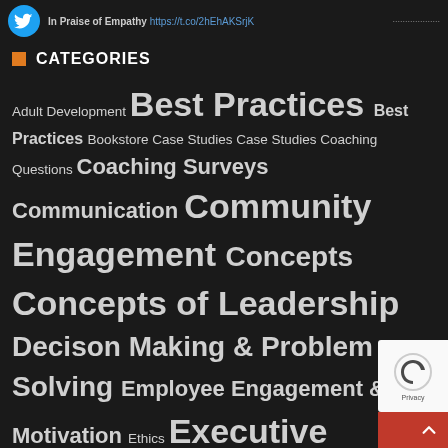In Praise of Empathy https://t.co/2hEhAKSrjK
CATEGORIES
Adult Development Best Practices Best Practices Bookstore Case Studies Case Studies Coaching Questions Coaching Surveys Communication Community Engagement Concepts Concepts of Leadership Decison Making & Problem Solving Employee Engagement & Motivation Ethics Executive Coaching Executive Presence Future of Coaching Health Care Sector Interpersonal Relationships Leadership Leadership Coaching Life Planning Managing Change Managing Stress & Challenges Marketing Neurosciences: Brain & Behavior Organizational Theory Organiz De (OD) Performance Personal & Life Coaching Research Resources Return on Investment Strategies